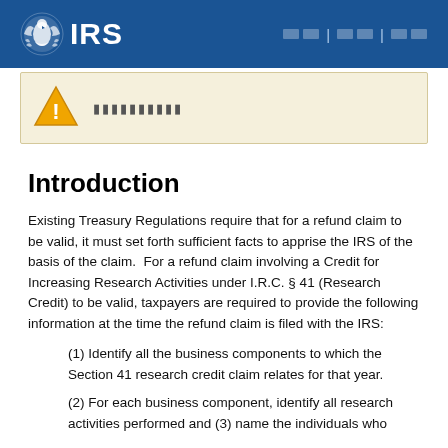IRS | Navigation links
[Figure (infographic): Warning/alert box with triangle warning icon and placeholder text (shown as rectangles indicating non-Latin characters)]
Introduction
Existing Treasury Regulations require that for a refund claim to be valid, it must set forth sufficient facts to apprise the IRS of the basis of the claim.  For a refund claim involving a Credit for Increasing Research Activities under I.R.C. § 41 (Research Credit) to be valid, taxpayers are required to provide the following information at the time the refund claim is filed with the IRS:
(1) Identify all the business components to which the Section 41 research credit claim relates for that year.
(2) For each business component, identify all research activities performed and (3) name the individuals who